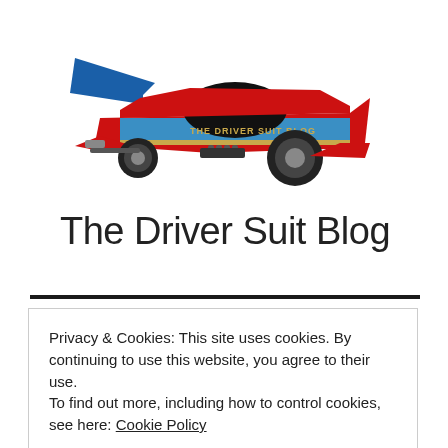[Figure (illustration): Drag racing funny car illustration in red and blue with 'THE DRIVER SUIT BLOG' text on the side, facing right, with large rear wing and slick tires.]
The Driver Suit Blog
Privacy & Cookies: This site uses cookies. By continuing to use this website, you agree to their use.
To find out more, including how to control cookies, see here: Cookie Policy
Close and accept